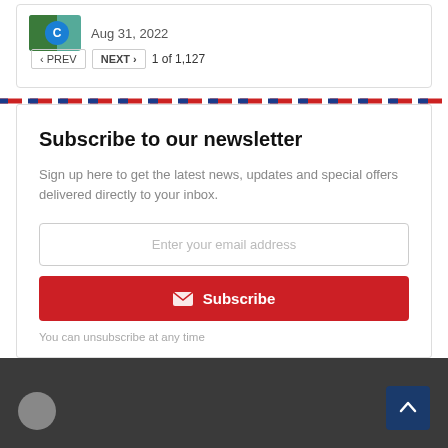[Figure (screenshot): Thumbnail image with green and blue circle logo]
Aug 31, 2022
< PREV   NEXT >   1 of 1,127
Subscribe to our newsletter
Sign up here to get the latest news, updates and special offers delivered directly to your inbox.
Enter your email address
Subscribe
You can unsubscribe at any time